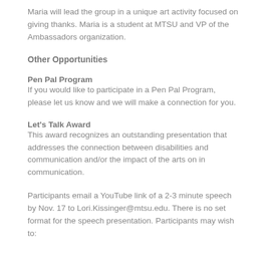Maria will lead the group in a unique art activity focused on giving thanks. Maria is a student at MTSU and VP of the Ambassadors organization.
Other Opportunities
Pen Pal Program
If you would like to participate in a Pen Pal Program, please let us know and we will make a connection for you.
Let's Talk Award
This award recognizes an outstanding presentation that addresses the connection between disabilities and communication and/or the impact of the arts on in communication.
Participants email a YouTube link of a 2-3 minute speech by Nov. 17 to Lori.Kissinger@mtsu.edu. There is no set format for the speech presentation. Participants may wish to: